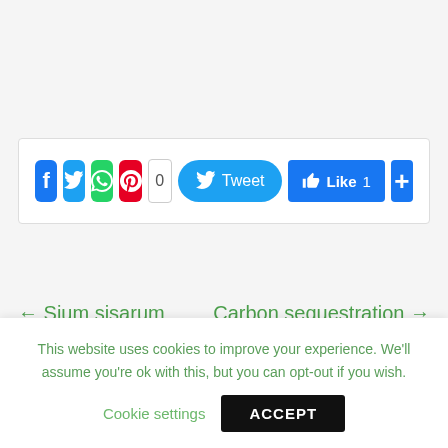[Figure (screenshot): Social media share bar with Facebook, Twitter, WhatsApp, Pinterest buttons, tweet count 0, Tweet button, Like 1 button, and share plus button]
← Sium sisarum
Carbon sequestration →
This website uses cookies to improve your experience. We'll assume you're ok with this, but you can opt-out if you wish.
Cookie settings
ACCEPT